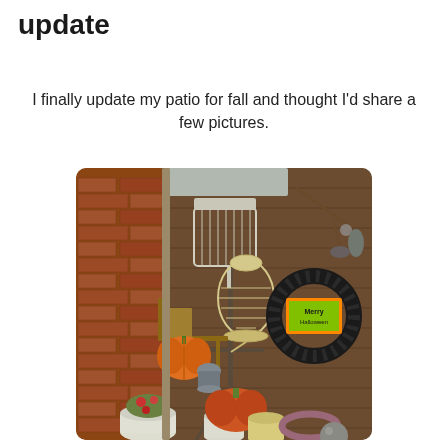update
I finally update my patio for fall and thought I'd share a few pictures.
[Figure (photo): A fall-decorated patio corner featuring pumpkins, birdcages on a plant stand, a black feather wreath with a 'Happy Halloween' sign, potted mums, white enamel buckets, a large orange pumpkin atop a cream bucket, and various rustic decorative items against a brown siding wall with brick.]